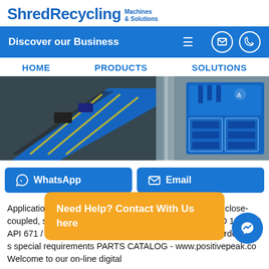ShredRecycling Machines & Solutions
Discover our Business
HOME   PRODUCTS   SOLUTIONS
[Figure (photo): Industrial shredding/recycling machinery in a warehouse setting, featuring blue conveyor belts and large blue processing units.]
WhatsApp
Email
Application flexibility – More than 25 standard sizes with close-coupled, spacer, and floating shaft designs API 610 / ISO 14691 & API 671 / ISO 10441 compliant designs Engineered-to-order ca... s special requirements PARTS CATALOG - www.positivepeak.co Welcome to our on-line digital
Need Help? Contact With Us here